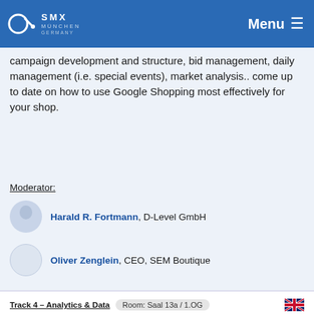SMX München Germany — Menu
campaign development and structure, bid management, daily management (i.e. special events), market analysis.. come up to date on how to use Google Shopping most effectively for your shop.
Moderator:
Harald R. Fortmann, D-Level GmbH
Speaker:
Oliver Zenglein, CEO, SEM Boutique
Track 4 – Analytics & Data    Room: Saal 13a / 1.OG
How to Avoid Ready-Fire-Aim Marketing: Creating a Meaningful